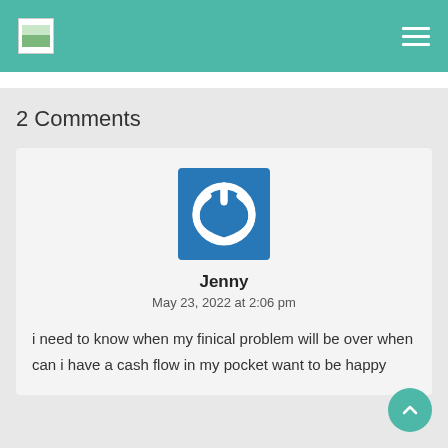Navigation bar with logo and hamburger menu
2 Comments
[Figure (illustration): Blue square avatar icon with white power button symbol]
Jenny
May 23, 2022 at 2:06 pm
i need to know when my finical problem will be over when can i have a cash flow in my pocket want to be happy